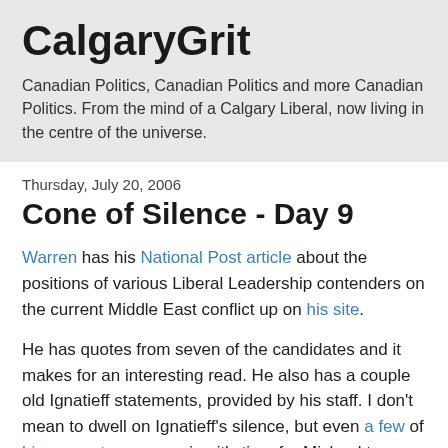CalgaryGrit
Canadian Politics, Canadian Politics and more Canadian Politics. From the mind of a Calgary Liberal, now living in the centre of the universe.
Thursday, July 20, 2006
Cone of Silence - Day 9
Warren has his National Post article about the positions of various Liberal Leadership contenders on the current Middle East conflict up on his site.
He has quotes from seven of the candidates and it makes for an interesting read. He also has a couple old Ignatieff statements, provided by his staff. I don't mean to dwell on Ignatieff's silence, but even a few of his supporters are saying it's time for Michael to weigh in on the topic.